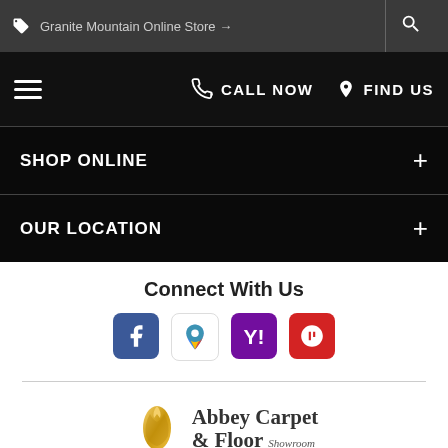Granite Mountain Online Store →
CALL NOW   FIND US
SHOP ONLINE
OUR LOCATION
Connect With Us
[Figure (logo): Social media icons: Facebook, Google Maps, Yahoo, Yelp]
[Figure (logo): Abbey Carpet & Floor Showroom logo]
[Figure (logo): Payment card logos: American Express, Discover, MasterCard, Visa]